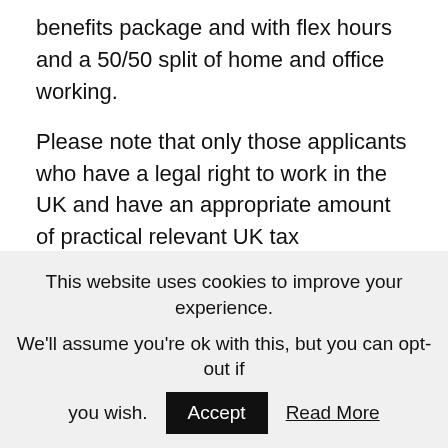benefits package and with flex hours and a 50/50 split of home and office working.
Please note that only those applicants who have a legal right to work in the UK and have an appropriate amount of practical relevant UK tax experience will be considered for this role. Additionally, candidates who are already
This website uses cookies to improve your experience.
We'll assume you're ok with this, but you can opt-out if you wish.